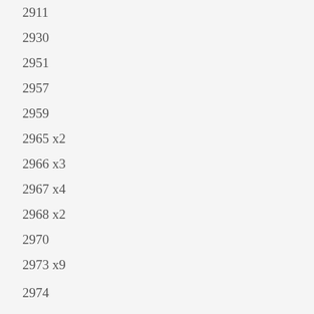2911
2930
2951
2957
2959
2965 x2
2966 x3
2967 x4
2968 x2
2970
2973 x9
2974